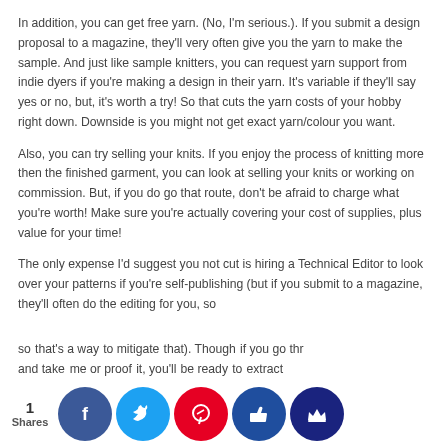In addition, you can get free yarn. (No, I'm serious.). If you submit a design proposal to a magazine, they'll very often give you the yarn to make the sample. And just like sample knitters, you can request yarn support from indie dyers if you're making a design in their yarn. It's variable if they'll say yes or no, but, it's worth a try! So that cuts the yarn costs of your hobby right down. Downside is you might not get exact yarn/colour you want.
Also, you can try selling your knits. If you enjoy the process of knitting more then the finished garment, you can look at selling your knits or working on commission. But, if you do go that route, don't be afraid to charge what you're worth! Make sure you're actually covering your cost of supplies, plus value for your time!
The only expense I'd suggest you not cut is hiring a Technical Editor to look over your patterns if you're self-publishing (but if you submit to a magazine, they'll often do the editing for you, so that's a way to mitigate that). Though if you go through and take time or proof it, you'll be ready to extract
1 Shares [social share buttons: Facebook, Twitter, Pinterest, Like, Crown]